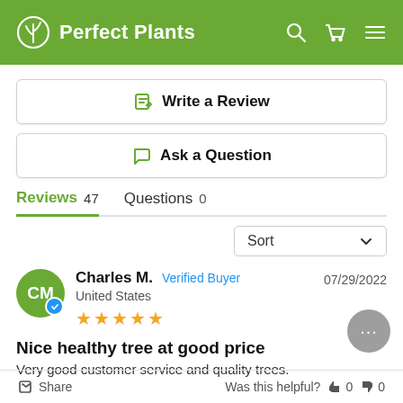Perfect Plants
Write a Review
Ask a Question
Reviews 47   Questions 0
Sort
Charles M.  Verified Buyer  United States  07/29/2022  ★★★★★
Nice healthy tree at good price
Very good customer service and quality trees.
Share   Was this helpful?  👍 0  👎 0